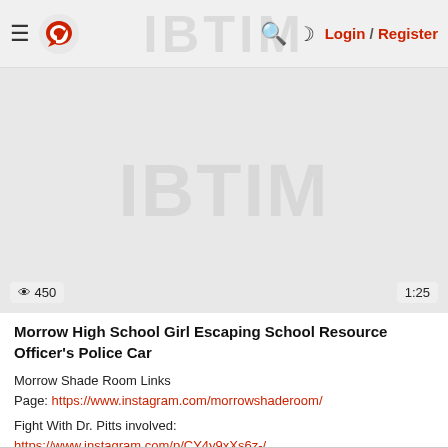≡ [Logo] 🔍 ☾ Login / Register
[Figure (screenshot): Video thumbnail area showing a grey placeholder with watermark text. Views badge showing 450 and duration badge showing 1:25.]
Morrow High School Girl Escaping School Resource Officer's Police Car
Morrow Shade Room Links
Page: https://www.instagram.com/morrowshaderoom/
Fight With Dr. Pitts involved:
https://www.instagram.com/p/CY4y9xXs6z-/
Jan 31, 2022